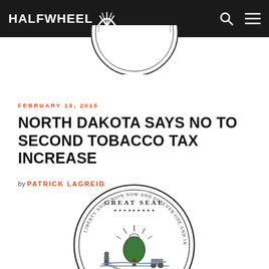HALFWHEEL
[Figure (photo): Top portion of North Dakota Great Seal (cropped, only bottom arc visible)]
FEBRUARY 19, 2015
NORTH DAKOTA SAYS NO TO SECOND TOBACCO TAX INCREASE
by PATRICK LAGREID
[Figure (illustration): North Dakota Great Seal showing tree, sun rays, eagle, wagon, farmer, river, and circular text reading GREAT SEAL / LIBERTY AND UNION NOW AND FOREVER ONE AND INSEPARABLE / OCTOBER 1ST 1889]